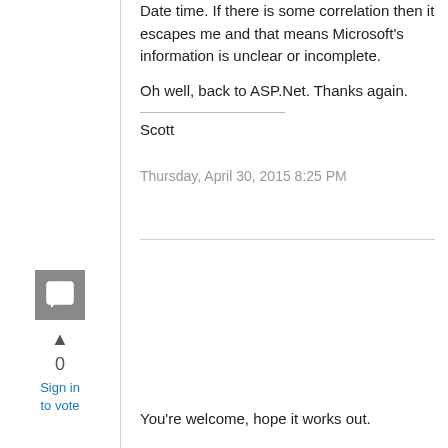Date time. If there is some correlation then it escapes me and that means Microsoft's information is unclear or incomplete.
Oh well, back to ASP.Net. Thanks again.
Scott
Thursday, April 30, 2015 8:25 PM
[Figure (illustration): Gray avatar icon box with a speech bubble/comment icon inside]
0
Sign in to vote
You're welcome, hope it works out.